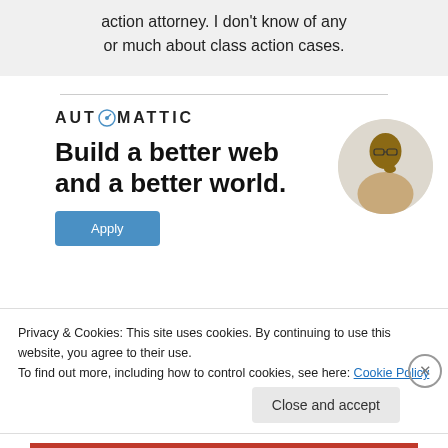action attorney. I don't know of any or much about class action cases.
[Figure (logo): Automattic logo with compass icon in letter O]
Build a better web and a better world.
[Figure (photo): Person in a circle portrait photo]
Apply
Privacy & Cookies: This site uses cookies. By continuing to use this website, you agree to their use.
To find out more, including how to control cookies, see here: Cookie Policy
Close and accept